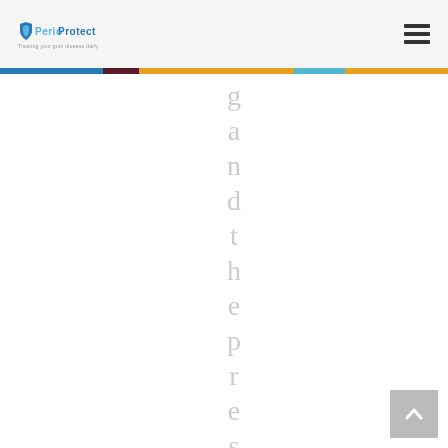PerioProtect - navigation header with logo and hamburger menu
[Figure (other): Multicolor horizontal bar separator: blue, dark red, yellow/gold, cyan, orange segments]
and the prescri (vertical rotated text spelling out letters one per line: g, a, n, d, t, h, e, p, r, e, s, c, r, i, p)
[Figure (other): Back to top button with upward arrow chevron in bottom right corner]